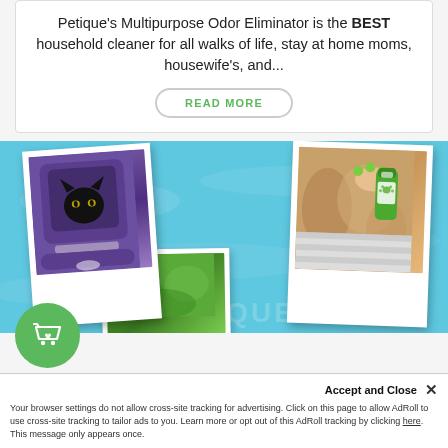Petique's Multipurpose Odor Eliminator is the BEST household cleaner for all walks of life, stay at home moms, housewife's, and...
READ MORE
[Figure (photo): Photo collage of pets on a blue pool water background: a black cat in a purple carrier backpack (polaroid frame), a dog being groomed with a green product bottle (polaroid frame), and a partially visible third polaroid with green foliage]
Accept and Close ×
Your browser settings do not allow cross-site tracking for advertising. Click on this page to allow AdRoll to use cross-site tracking to tailor ads to you. Learn more or opt out of this AdRoll tracking by clicking here. This message only appears once.